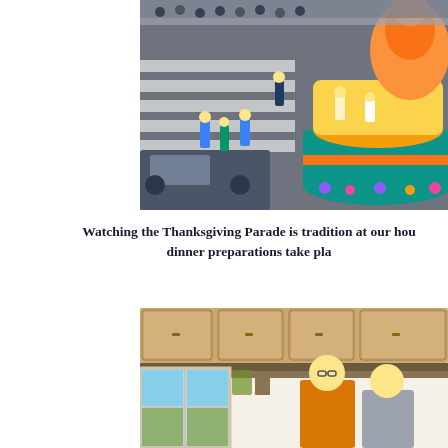[Figure (photo): Aerial view of a Thanksgiving parade float shaped like a large turkey/bird, colorful with performers in costumes on and around it. A truck is visible in the lower left, and crowds line the street.]
Watching the Thanksgiving Parade is tradition at our hou... dinner preparations take pla...
[Figure (photo): Two people standing in a kitchen with wooden cabinets. One person is wearing a yellow/gold sweater, the other is in a gray sleeveless shirt.]